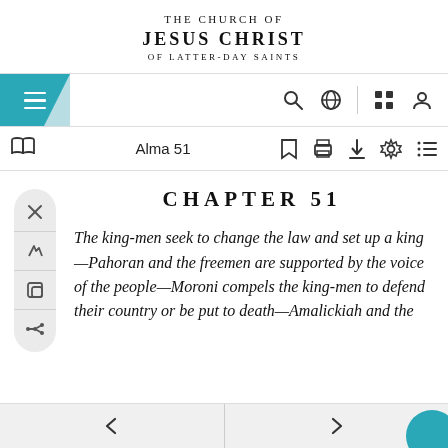THE CHURCH OF JESUS CHRIST OF LATTER-DAY SAINTS
[Figure (screenshot): Navigation bar with hamburger menu icon on teal background, search icon, globe icon, grid icon, and profile icon]
[Figure (screenshot): Toolbar with book icon, Alma 51 label, bookmark, print, download, settings, and list icons]
CHAPTER 51
The king-men seek to change the law and set up a king—Pahoran and the freemen are supported by the voice of the people—Moroni compels the king-men to defend their country or be put to death—Amalickiah and the
← →